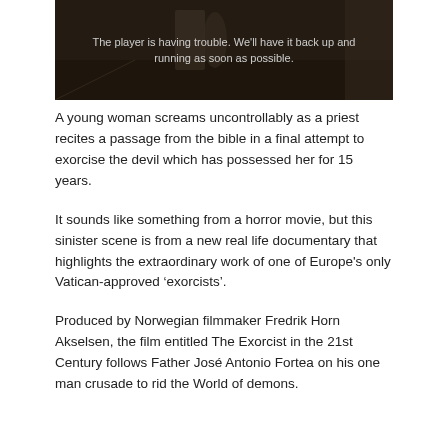[Figure (screenshot): Dark video player thumbnail with error message overlay showing a dimly lit scene with silhouettes]
The player is having trouble. We'll have it back up and running as soon as possible.
A young woman screams uncontrollably as a priest recites a passage from the bible in a final attempt to exorcise the devil which has possessed her for 15 years.
It sounds like something from a horror movie, but this sinister scene is from a new real life documentary that highlights the extraordinary work of one of Europe's only Vatican-approved ‘exorcists’.
Produced by Norwegian filmmaker Fredrik Horn Akselsen, the film entitled The Exorcist in the 21st Century follows Father José Antonio Fortea on his one man crusade to rid the World of demons.